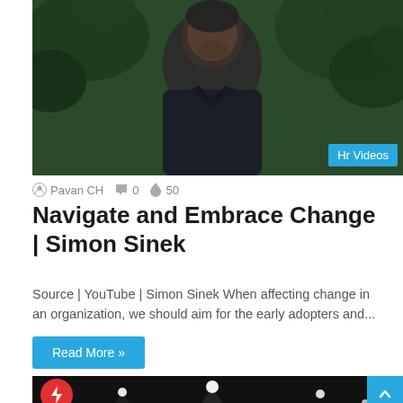[Figure (photo): Photo of a man in a dark navy shirt sitting outdoors with green foliage in the background]
Hr Videos
Pavan CH  💬 0  🔥 50
Navigate and Embrace Change | Simon Sinek
Source | YouTube | Simon Sinek When affecting change in an organization, we should aim for the early adopters and...
Read More »
[Figure (photo): Black and white photo of a speaker standing on stage facing a large auditorium audience with stage lights overhead]